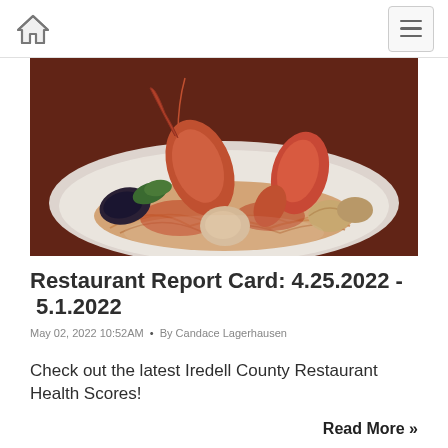Home • Menu
[Figure (photo): A gourmet seafood pasta dish on a white plate, featuring large prawns/shrimp, mussels, clams, scallop, and pasta with tomato sauce, on a dark background.]
Restaurant Report Card: 4.25.2022 - 5.1.2022
May 02, 2022 10:52AM • By Candace Lagerhausen
Check out the latest Iredell County Restaurant Health Scores!
Read More »